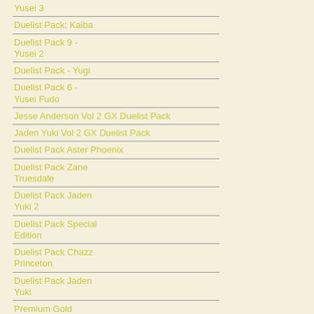Yusei 3
Duelist Pack: Kaiba
Duelist Pack 9 - Yusei 2
Duelist Pack - Yugi
Duelist Pack 6 - Yusei Fudo
Jesse Anderson Vol 2 GX Duelist Pack
Jaden Yuki Vol 2 GX Duelist Pack
Duelist Pack Aster Phoenix
Duelist Pack Zane Truesdale
Duelist Pack Jaden Yuki 2
Duelist Pack Special Edition
Duelist Pack Chazz Princeton
Duelist Pack Jaden Yuki
Premium Gold
Gold Series: Haunted Mine
Gold Series 4: Pyramids Edition
Gold Series 3
Gold Series 2009
Gold Series 2008
Reprint Sets